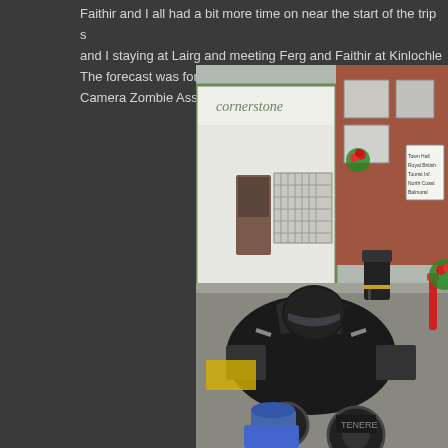Faithir and I all had a bit more time on near the start of the trip staying at Lairg and meeting Ferg and Faithir at Kinlochle The forecast was for rain, but it stayed mostly dry and Aidan an Camera Zombie Assassins A9 and Police and tourist clogged A
[Figure (photo): Motorcycles parked on a street in front of a shop called 'Cornerstone'. The scene shows a British town street with brick buildings, hanging flower baskets, road signs, and a black litter bin. A large touring motorcycle with a black helmet resting on it is prominently in the foreground, with a yellow motorcycle partially visible behind it.]